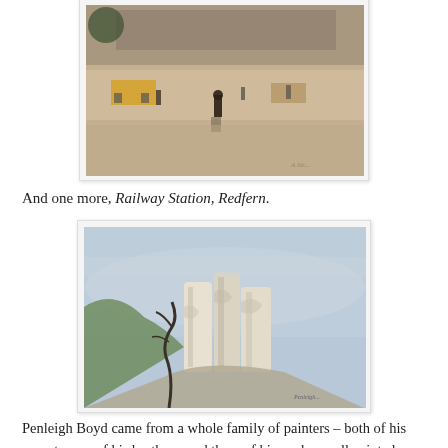[Figure (photo): Painting of a rainy street scene outside a railway station with horse-drawn carriages and pedestrians on a wet reflective surface. Signed by the artist in the lower right corner.]
And one more, Railway Station, Redfern.
[Figure (photo): Watercolour painting of the Three Sisters rock formation in the Blue Mountains, showing tall white sandstone pillars against a blue hazy background with a twisted tree in the foreground.]
Penleigh Boyd came from a whole family of painters – both of his parents, one of his brothers, and three of his nephews all painted professionally. The Three Sisters, 1914.